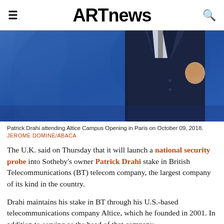ARTnews
[Figure (photo): Patrick Drahi attending Altice Campus Opening in Paris on October 09, 2018. A man in a dark navy suit against a blue background.]
Patrick Drahi attending Altice Campus Opening in Paris on October 09, 2018.
JEROME DOMINE/ABACA
The U.K. said on Thursday that it will launch a national security probe into Sotheby's owner Patrick Drahi stake in British Telecommunications (BT) telecom company, the largest company of its kind in the country.
Drahi maintains his stake in BT through his U.S.-based telecommunications company Altice, which he founded in 2001. In addition to serving as the head of that company